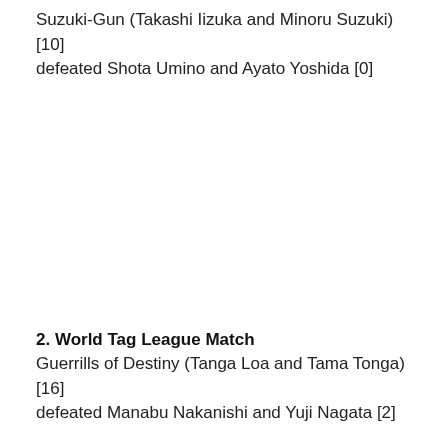Suzuki-Gun (Takashi Iizuka and Minoru Suzuki) [10] defeated Shota Umino and Ayato Yoshida [0]
2. World Tag League Match
Guerrills of Destiny (Tanga Loa and Tama Tonga) [16] defeated Manabu Nakanishi and Yuji Nagata [2]